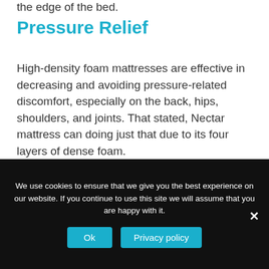the edge of the bed.
Pressure Relief
High-density foam mattresses are effective in decreasing and avoiding pressure-related discomfort, especially on the back, hips, shoulders, and joints. That stated, Nectar mattress can doing just that due to its four layers of dense foam.
You will get fantastic pressure relief around your shoulders, back region, and hips when you sleep on your back, side or stomach.
We use cookies to ensure that we give you the best experience on our website. If you continue to use this site we will assume that you are happy with it.